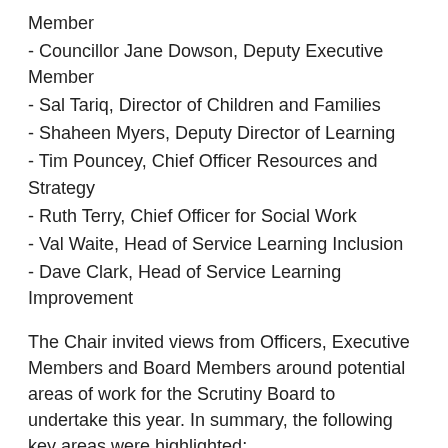Member
- Councillor Jane Dowson, Deputy Executive Member
- Sal Tariq, Director of Children and Families
- Shaheen Myers, Deputy Director of Learning
- Tim Pouncey, Chief Officer Resources and Strategy
- Ruth Terry, Chief Officer for Social Work
- Val Waite, Head of Service Learning Inclusion
- Dave Clark, Head of Service Learning Improvement
The Chair invited views from Officers, Executive Members and Board Members around potential areas of work for the Scrutiny Board to undertake this year. In summary, the following key areas were highlighted:
Ø  Early scrutiny engagement surrounding the